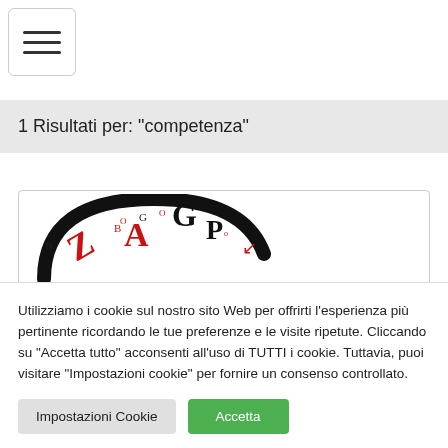[Figure (screenshot): Hamburger menu button with three horizontal lines, bordered box, top-left corner]
1 Risultati per: "competenza"
[Figure (logo): Partial circular logo with red and black letters on a white background inside a card]
Utilizziamo i cookie sul nostro sito Web per offrirti l'esperienza più pertinente ricordando le tue preferenze e le visite ripetute. Cliccando su “Accetta tutto” acconsenti all'uso di TUTTI i cookie. Tuttavia, puoi visitare "Impostazioni cookie" per fornire un consenso controllato.
Impostazioni Cookie   Accetta